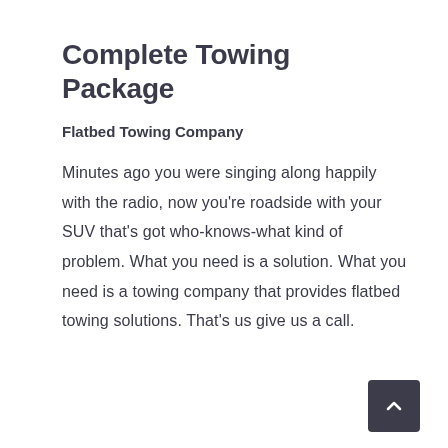Complete Towing Package
Flatbed Towing Company
Minutes ago you were singing along happily with the radio, now you're roadside with your SUV that's got who-knows-what kind of problem. What you need is a solution. What you need is a towing company that provides flatbed towing solutions. That's us give us a call.